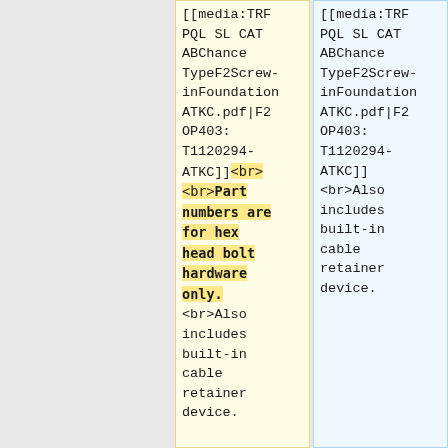| [[media:TRFPQL SL CAT ABChance TypeF2Screw-inFoundationATKC.pdf|F2OP403: T1120294-ATKC]]<br> <br>Part numbers are for hex head bolt hardware only. <br>Also includes built-in cable retainer device. | [[media:TRFPQL SL CAT ABChance TypeF2Screw-inFoundationATKC.pdf|F2OP403: T1120294-ATKC]] <br>Also includes built-in cable retainer device. |